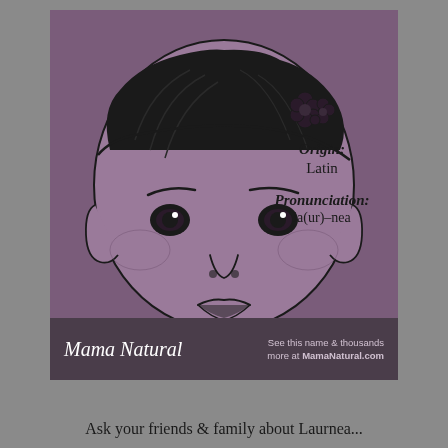[Figure (illustration): Illustrated baby girl with flower headband on purple/mauve background. Line art style baby portrait with dark hair and floral headpiece.]
Origin: Latin
Pronunciation: la(ur)-nea
Mama Natural
See this name & thousands more at MamaNatural.com
Ask your friends & family about Laurnea...